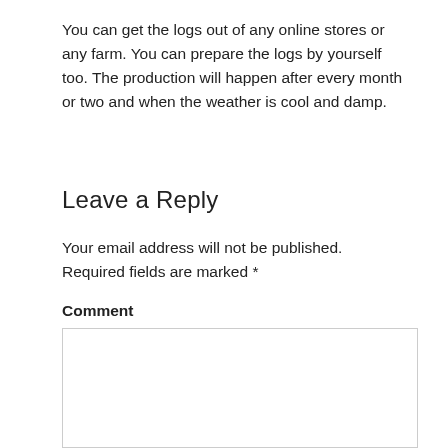You can get the logs out of any online stores or any farm. You can prepare the logs by yourself too. The production will happen after every month or two and when the weather is cool and damp.
Leave a Reply
Your email address will not be published. Required fields are marked *
Comment